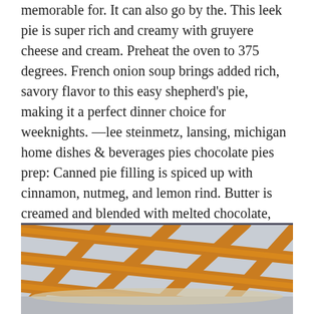memorable for. It can also go by the. This leek pie is super rich and creamy with gruyere cheese and cream. Preheat the oven to 375 degrees. French onion soup brings added rich, savory flavor to this easy shepherd's pie, making it a perfect dinner choice for weeknights. —lee steinmetz, lansing, michigan home dishes & beverages pies chocolate pies prep: Canned pie filling is spiced up with cinnamon, nutmeg, and lemon rind. Butter is creamed and blended with melted chocolate, vanilla, and eggs, then beaten until thick and fluffy, and poured into a baked pie shell. Easy shepherd's pie with ground beef and french onion soup that tastes great. These homemade pie recipes are delicious, doable and, above all, just plain easy. Great to eat with a salad during summer or even.
[Figure (photo): A lattice-top pie with golden-brown pastry strips crossing over each other, viewed from above on a light surface. The pie crust shows a woven pattern of orange-golden baked dough.]